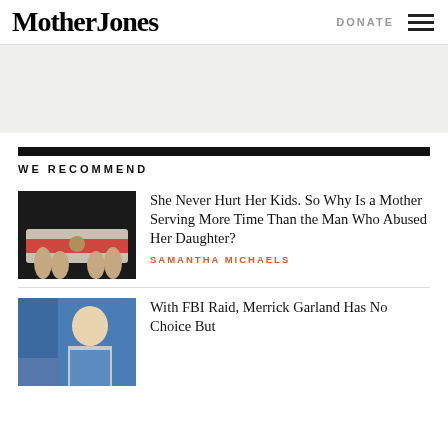Mother Jones | DONATE
[Figure (other): Gray advertisement/banner area]
WE RECOMMEND
[Figure (photo): Hands holding a photograph with a red stripe across it]
She Never Hurt Her Kids. So Why Is a Mother Serving More Time Than the Man Who Abused Her Daughter?
SAMANTHA MICHAELS
[Figure (photo): Person in blue clothing, partial view, news photo]
With FBI Raid, Merrick Garland Has No Choice But